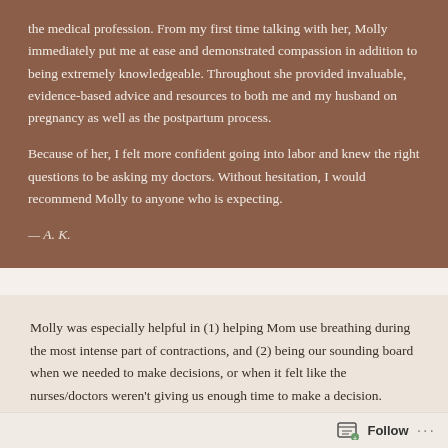the medical profession. From my first time talking with her, Molly immediately put me at ease and demonstrated compassion in addition to being extremely knowledgeable. Throughout she provided invaluable, evidence-based advice and resources to both me and my husband on pregnancy as well as the postpartum process.

Because of her, I felt more confident going into labor and knew the right questions to be asking my doctors. Without hesitation, I would recommend Molly to anyone who is expecting.
— A. K.
Molly was especially helpful in (1) helping Mom use breathing during the most intense part of contractions, and (2) being our sounding board when we needed to make decisions, or when it felt like the nurses/doctors weren't giving us enough time to make a decision.
Follow ···